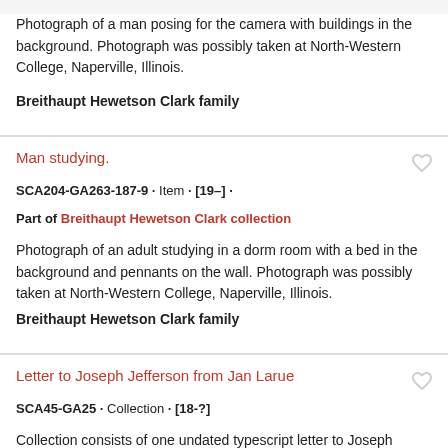Photograph of a man posing for the camera with buildings in the background. Photograph was possibly taken at North-Western College, Naperville, Illinois.
Breithaupt Hewetson Clark family
Man studying.
SCA204-GA263-187-9 · Item · [19–] ·
Part of Breithaupt Hewetson Clark collection
Photograph of an adult studying in a dorm room with a bed in the background and pennants on the wall. Photograph was possibly taken at North-Western College, Naperville, Illinois.
Breithaupt Hewetson Clark family
Letter to Joseph Jefferson from Jan Larue
SCA45-GA25 · Collection · [18-?]
Collection consists of one undated typescript letter to Joseph Jefferson from Jan Larue in Iberia Parish